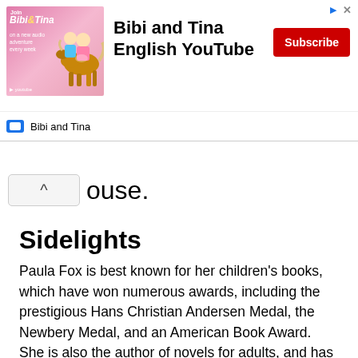[Figure (infographic): Advertisement banner for Bibi and Tina English YouTube channel with pink illustrated background, Subscribe button, and channel row below.]
ouse.
Sidelights
Paula Fox is best known for her children's books, which have won numerous awards, including the prestigious Hans Christian Andersen Medal, the Newbery Medal, and an American Book Award. She is also the author of novels for adults, and has been described by Nation contributor Blair T. Birmelin as "one of our most intelligent (and least appreciated) contemporary